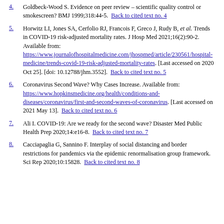4. Goldbeck-Wood S. Evidence on peer review – scientific quality control or smokescreen? BMJ 1999;318:44-5. Back to cited text no. 4
5. Horwitz LI, Jones SA, Cerfolio RJ, Francois F, Greco J, Rudy B, et al. Trends in COVID-19 risk-adjusted mortality rates. J Hosp Med 2021;16(2):90-2. Available from: https://www.journalofhospitalmedicine.com/jhospmed/article/230561/hospital-medicine/trends-covid-19-risk-adjusted-mortality-rates. [Last accessed on 2020 Oct 25]. [doi: 10.12788/jhm.3552]. Back to cited text no. 5
6. Coronavirus Second Wave? Why Cases Increase. Available from: https://www.hopkinsmedicine.org/health/conditions-and-diseases/coronavirus/first-and-second-waves-of-coronavirus. [Last accessed on 2021 May 13]. Back to cited text no. 6
7. Ali I. COVID-19: Are we ready for the second wave? Disaster Med Public Health Prep 2020;14:e16-8. Back to cited text no. 7
8. Cacciapaglia G, Sannino F. Interplay of social distancing and border restrictions for pandemics via the epidemic renormalisation group framework. Sci Rep 2020;10:15828. Back to cited text no. 8